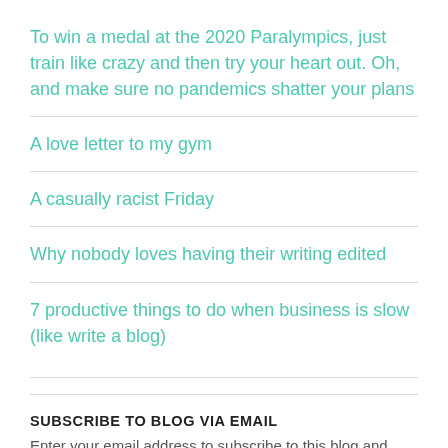To win a medal at the 2020 Paralympics, just train like crazy and then try your heart out. Oh, and make sure no pandemics shatter your plans
A love letter to my gym
A casually racist Friday
Why nobody loves having their writing edited
7 productive things to do when business is slow (like write a blog)
SUBSCRIBE TO BLOG VIA EMAIL
Enter your email address to subscribe to this blog and